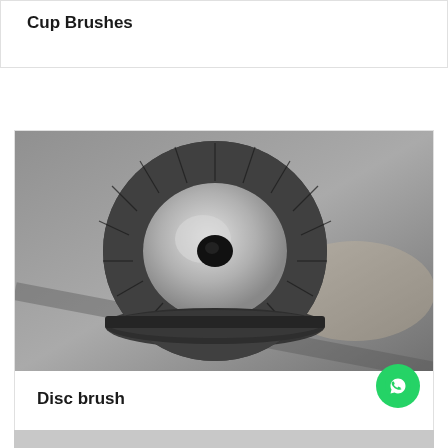Cup Brushes
[Figure (photo): Top-down photograph of a disc brush (cup brush) with dark bristles arranged in a circular pattern around a central metal hub with a central hole, placed on a grey metal surface.]
Disc brush